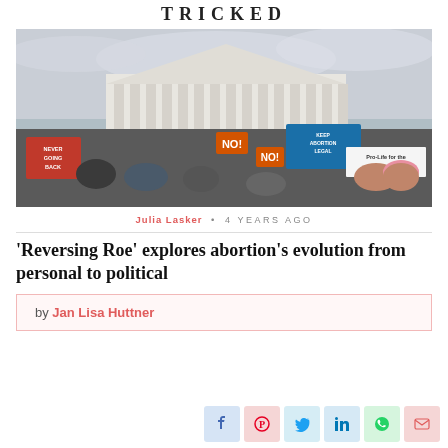TRICKED
[Figure (photo): Photo of protesters outside the US Supreme Court building, holding signs both pro-life and pro-choice, including signs reading 'Never Going Back', 'Keep Abortion Legal', 'Pro-Life for the Whole Life', and 'NO!']
Julia Lasker  •  4 YEARS AGO
'Reversing Roe' explores abortion's evolution from personal to political
by Jan Lisa Huttner